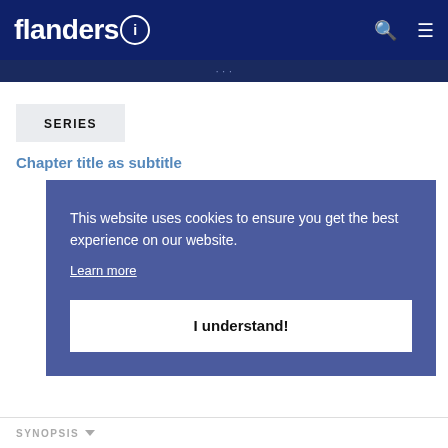flanders i
SERIES
Chapter title as subtitle
This website uses cookies to ensure you get the best experience on our website. Learn more
I understand!
SYNOPSIS